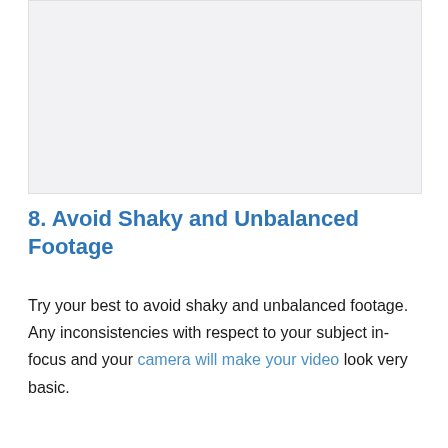[Figure (photo): Large image placeholder area at the top of the page, light grey background]
8. Avoid Shaky and Unbalanced Footage
Try your best to avoid shaky and unbalanced footage. Any inconsistencies with respect to your subject in-focus and your camera will make your video look very basic.